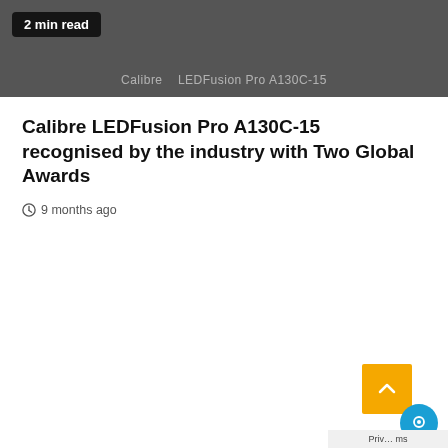[Figure (photo): Dark grey image of a product display showing LEDFusion Pro A130C-15, with a '2 min read' badge overlay in the top-left corner]
Calibre LEDFusion Pro A130C-15 recognised by the industry with Two Global Awards
9 months ago
[Figure (photo): Dark grey image placeholder for a second article with a '3 min read' badge in the bottom-left corner. A yellow scroll-to-top button and a blue chat button are visible in the bottom-right.]